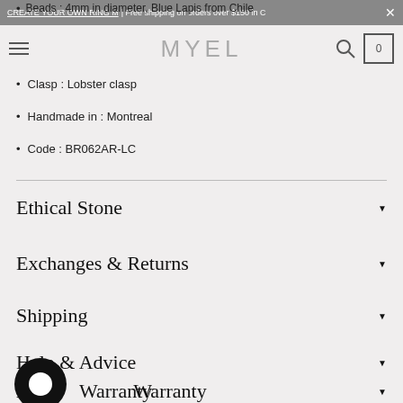Beads : 4mm in diameter, Blue Lapis from Chile | CREATE YOUR OWN RING M | Free shipping on orders over $150 in C
Beads : 4mm in diameter, Blue Lapis from Chile
Clasp : Lobster clasp
Handmade in : Montreal
Code : BR062AR-LC
Ethical Stone
Exchanges & Returns
Shipping
Help & Advice
Lifetime Warranty